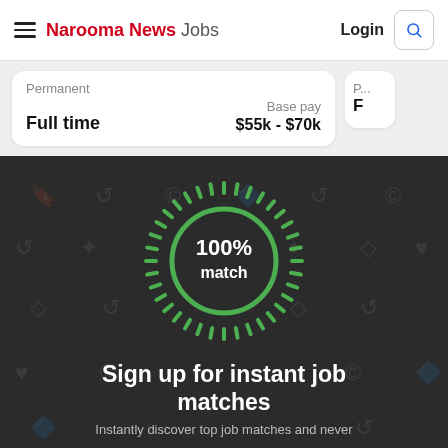Narooma News Jobs | Login
Permanent
Full time
Base pay
$55k - $70k
[Figure (infographic): Dark background promotional section with a green 100% match circle/badge with radiating tick marks, background pattern of faded job-related icons, and text 'Sign up for instant job matches']
Sign up for instant job matches
Instantly discover top job matches and never